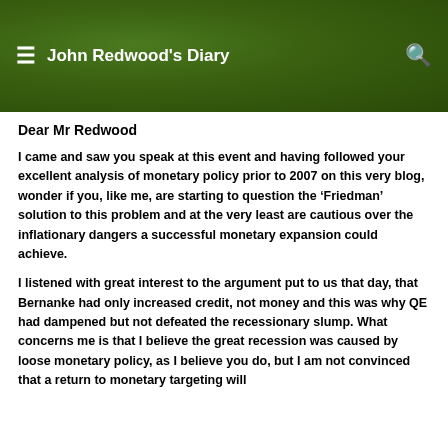John Redwood's Diary
Dear Mr Redwood
I came and saw you speak at this event and having followed your excellent analysis of monetary policy prior to 2007 on this very blog, wonder if you, like me, are starting to question the ‘Friedman’ solution to this problem and at the very least are cautious over the inflationary dangers a successful monetary expansion could achieve.
I listened with great interest to the argument put to us that day, that Bernanke had only increased credit, not money and this was why QE had dampened but not defeated the recessionary slump. What concerns me is that I believe the great recession was caused by loose monetary policy, as I believe you do, but I am not convinced that a return to monetary targeting will